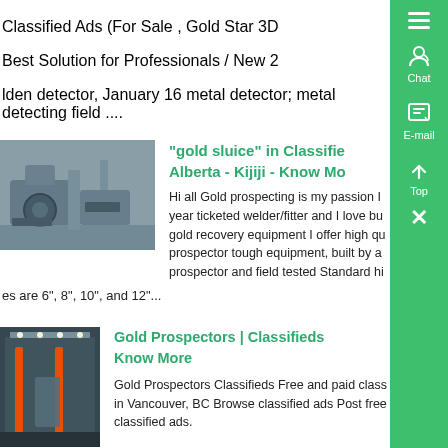Classified Ads (For Sale , Gold Star 3D
Best Solution for Professionals / New 2
lden detector, January 16 metal detector; metal detecting field ....
"gold sluice" in Classified Ads Alberta - Kijiji - Know More
[Figure (photo): Industrial machinery - grey metal equipment in a warehouse]
Hi all Gold prospecting is my passion I year ticketed welder/fitter and I love bu gold recovery equipment I offer high qu prospector tough equipment, built by a prospector and field tested Standard hi
es are 6", 8", 10", and 12"...
Gold Prospectors | Classifieds Know More
[Figure (photo): Industrial building interior with orange pillars and machinery]
Gold Prospectors Classifieds Free and paid class in Vancouver, BC Browse classified ads Post free classified ads.